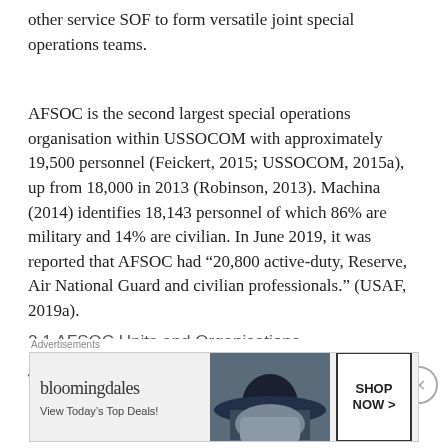other service SOF to form versatile joint special operations teams.
AFSOC is the second largest special operations organisation within USSOCOM with approximately 19,500 personnel (Feickert, 2015; USSOCOM, 2015a), up from 18,000 in 2013 (Robinson, 2013). Machina (2014) identifies 18,143 personnel of which 86% are military and 14% are civilian. In June 2019, it was reported that AFSOC had “20,800 active-duty, Reserve, Air National Guard and civilian professionals.” (USAF, 2019a).
2.1 AFSOC Units and Organisations
The HQ AFSOC is located at Hurlburt Field, Florida
Advertisements
[Figure (other): Bloomingdale's advertisement banner: logo text 'bloomingdales', tagline 'View Today's Top Deals!', image of woman in wide-brim hat, button 'SHOP NOW >']